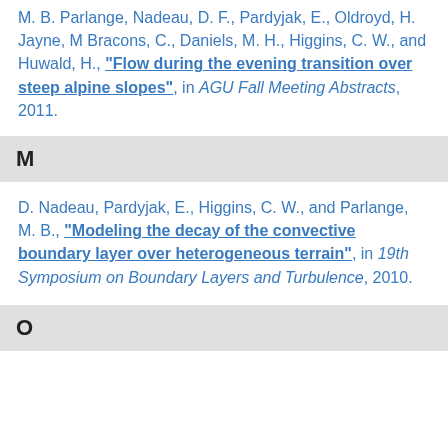M. B. Parlange, Nadeau, D. F., Pardyjak, E., Oldroyd, H. Jayne, M Bracons, C., Daniels, M. H., Higgins, C. W., and Huwald, H., “Flow during the evening transition over steep alpine slopes”, in AGU Fall Meeting Abstracts, 2011.
M
D. Nadeau, Pardyjak, E., Higgins, C. W., and Parlange, M. B., “Modeling the decay of the convective boundary layer over heterogeneous terrain”, in 19th Symposium on Boundary Layers and Turbulence, 2010.
O